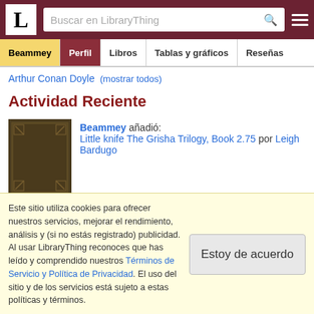L — Buscar en LibraryThing
Beammey | Perfil | Libros | Tablas y gráficos | Reseñas
Arthur Conan Doyle (mostrar todos)
Actividad Reciente
Beammey añadió: Little knife The Grisha Trilogy, Book 2.75 por Leigh Bardugo
Beammey añadió:
Este sitio utiliza cookies para ofrecer nuestros servicios, mejorar el rendimiento, análisis y (si no estás registrado) publicidad. Al usar LibraryThing reconoces que has leído y comprendido nuestros Términos de Servicio y Política de Privacidad. El uso del sitio y de los servicios está sujeto a estas políticas y términos.